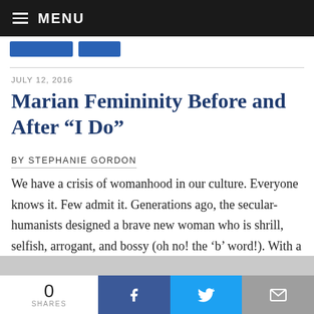MENU
JULY 12, 2016
Marian Femininity Before and After “I Do”
BY STEPHANIE GORDON
We have a crisis of womanhood in our culture. Everyone knows it. Few admit it. Generations ago, the secular-humanists designed a brave new woman who is shrill, selfish, arrogant, and bossy (oh no! the ‘b’ word!). With a
0 SHARES